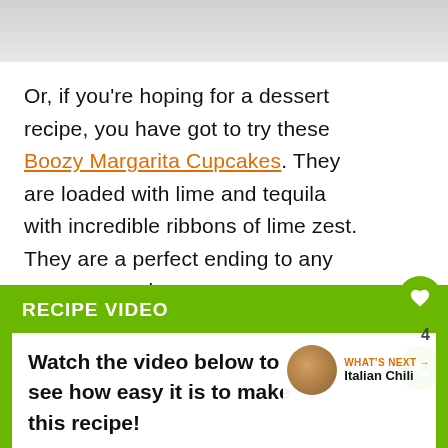[Figure (photo): Top portion of a food/recipe image, partially visible at the top of the page]
Or, if you're hoping for a dessert recipe, you have got to try these Boozy Margarita Cupcakes. They are loaded with lime and tequila with incredible ribbons of lime zest. They are a perfect ending to any summer meal.
RECIPE VIDEO
Watch the video below to see how easy it is to make this recipe!